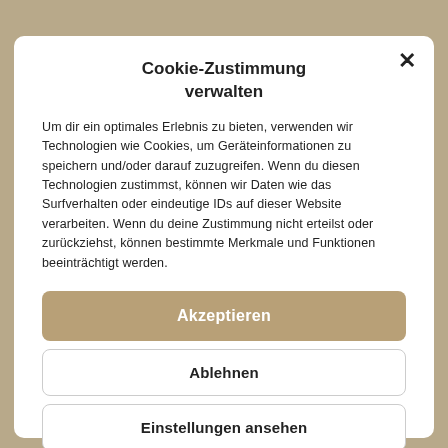Cookie-Zustimmung verwalten
Um dir ein optimales Erlebnis zu bieten, verwenden wir Technologien wie Cookies, um Geräteinformationen zu speichern und/oder darauf zuzugreifen. Wenn du diesen Technologien zustimmst, können wir Daten wie das Surfverhalten oder eindeutige IDs auf dieser Website verarbeiten. Wenn du deine Zustimmung nicht erteilst oder zurückziehst, können bestimmte Merkmale und Funktionen beeinträchtigt werden.
Akzeptieren
Ablehnen
Einstellungen ansehen
Datenschutzerklärung  Impressum